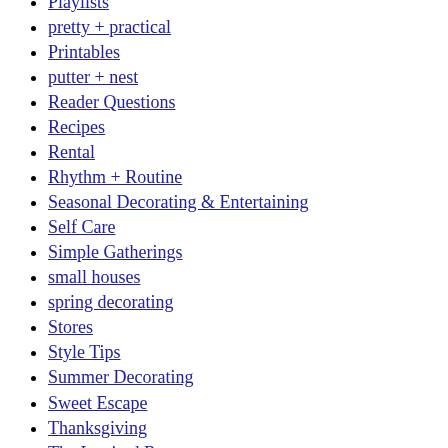Playlists
pretty + practical
Printables
putter + nest
Reader Questions
Recipes
Rental
Rhythm + Routine
Seasonal Decorating & Entertaining
Self Care
Simple Gatherings
small houses
spring decorating
Stores
Style Tips
Summer Decorating
Sweet Escape
Thanksgiving
The Inspired Room
Traditions & Memory Making
Valentine's Day
Weddings
Welcome + Gather
Wellness
Where I Lose My Sanity